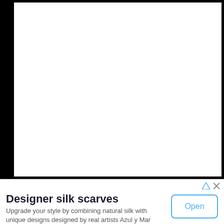[Figure (photo): Large image area mostly white with dark edges/border, appearing to be a screenshot or webpage content area]
Designer silk scarves
Upgrade your style by combining natural silk with unique designs designed by real artists Azul y Mar Designs
Open